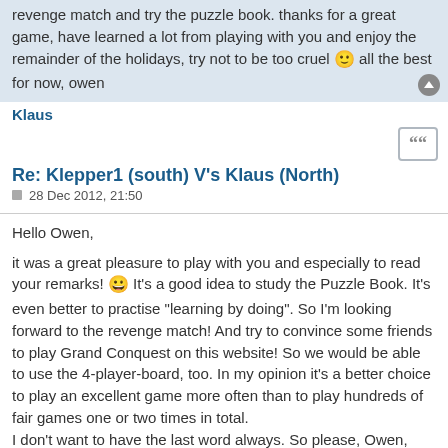revenge match and try the puzzle book. thanks for a great game, have learned a lot from playing with you and enjoy the remainder of the holidays, try not to be too cruel 🙂 all the best for now, owen
Klaus
Re: Klepper1 (south) V's Klaus (North)
28 Dec 2012, 21:50
Hello Owen,

it was a great pleasure to play with you and especially to read your remarks! 😀 It's a good idea to study the Puzzle Book. It's even better to practise "learning by doing". So I'm looking forward to the revenge match! And try to convince some friends to play Grand Conquest on this website! So we would be able to use the 4-player-board, too. In my opinion it's a better choice to play an excellent game more often than to play hundreds of fair games one or two times in total.
I don't want to have the last word always. So please, Owen, your last remark...

Kind regards

Klaus